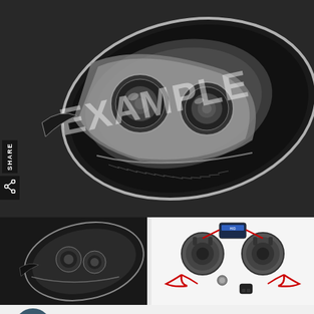[Figure (photo): Large Porsche Cayenne headlight assembly photographed on dark surface with EXAMPLE watermark overlay]
[Figure (photo): Thumbnail of Porsche Cayenne headlight assembly on dark background]
[Figure (photo): Thumbnail of Bi-Xenon HID headlight repair and upgrade kit components including projectors and wiring]
Porsche Cayenne 958 92A 11-15 Bi-Xenon Headlight Repair & Upgrade Kit For Xenon HID Headlights